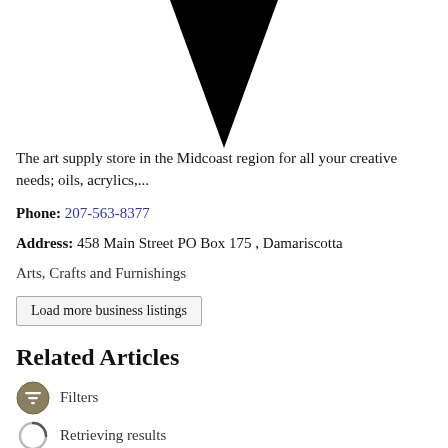[Figure (illustration): A large black downward-pointing triangle/chevron shape, partly cropped at the top of the page]
The art supply store in the Midcoast region for all your creative needs; oils, acrylics,...
Phone: 207-563-8377
Address: 458 Main Street PO Box 175 , Damariscotta
Arts, Crafts and Furnishings
Load more business listings
Related Articles
Filters
Retrieving results